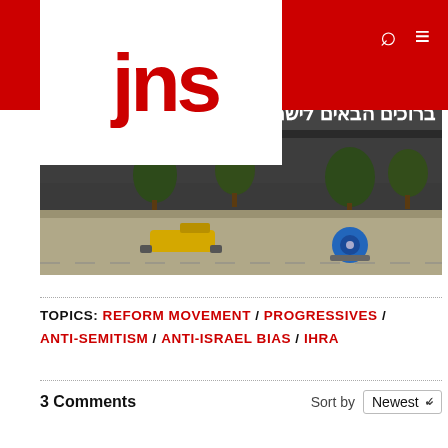JNS
[Figure (photo): Exterior of Ben Gurion Airport or Israeli airport terminal with 'Welcome to Israel' sign in English and Hebrew (ברוכים הבאים לישראל). Ground equipment visible in foreground.]
TOPICS: REFORM MOVEMENT / PROGRESSIVES / ANTI-SEMITISM / ANTI-ISRAEL BIAS / IHRA
3 Comments
Sort by Newest